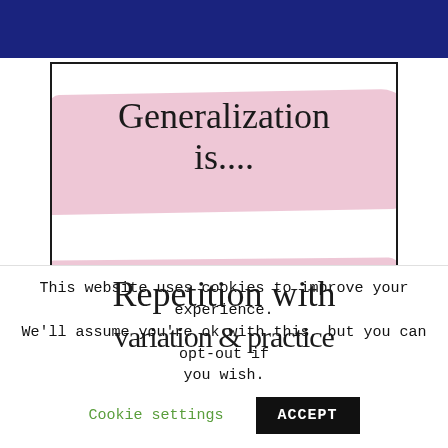[Figure (illustration): Dark navy blue banner at the top of the page, serving as a website header background.]
[Figure (infographic): A framed card with pink brush-stroke background highlights containing the text 'Generalization is....' in the upper portion and 'Repetition with' and partial text cut off at bottom, in a hand-lettered cursive/comic font style.]
This website uses cookies to improve your experience. We'll assume you're ok with this, but you can opt-out if you wish.
Cookie settings
ACCEPT